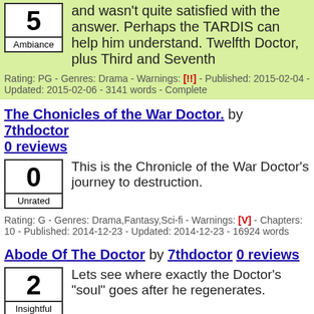and wasn't quite satisfied with the answer. Perhaps the TARDIS can help him understand. Twelfth Doctor, plus Third and Seventh
Rating: PG - Genres: Drama - Warnings: [!!] - Published: 2015-02-04 - Updated: 2015-02-06 - 3141 words - Complete
The Chonicles of the War Doctor. by 7thdoctor 0 reviews
This is the Chronicle of the War Doctor's journey to destruction.
Rating: G - Genres: Drama,Fantasy,Sci-fi - Warnings: [V] - Chapters: 10 - Published: 2014-12-23 - Updated: 2014-12-23 - 16924 words
Abode Of The Doctor by 7thdoctor 0 reviews
Lets see where exactly the Doctor's "soul" goes after he regenerates.
Rating: G - Genres: Drama,Humor,Sci-fi - Published: 2014-